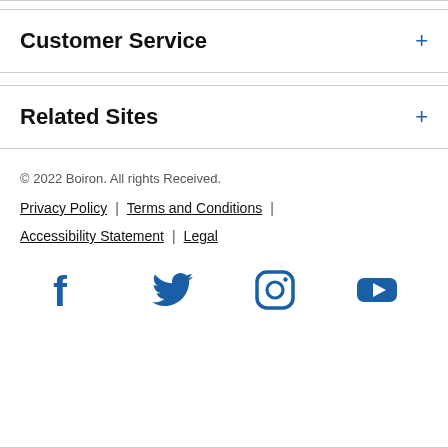Customer Service
Related Sites
© 2022 Boiron. All rights Received.
Privacy Policy | Terms and Conditions | Accessibility Statement | Legal
[Figure (illustration): Social media icons: Facebook, Twitter, Instagram, YouTube in blue]